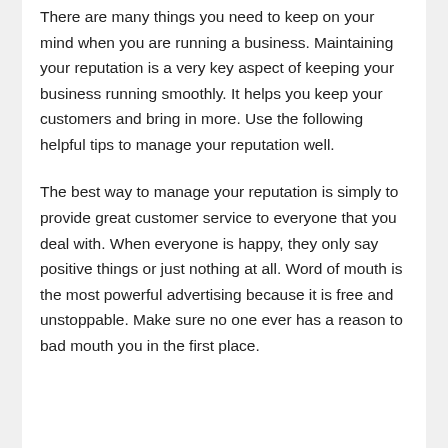There are many things you need to keep on your mind when you are running a business. Maintaining your reputation is a very key aspect of keeping your business running smoothly. It helps you keep your customers and bring in more. Use the following helpful tips to manage your reputation well.
The best way to manage your reputation is simply to provide great customer service to everyone that you deal with. When everyone is happy, they only say positive things or just nothing at all. Word of mouth is the most powerful advertising because it is free and unstoppable. Make sure no one ever has a reason to bad mouth you in the first place.